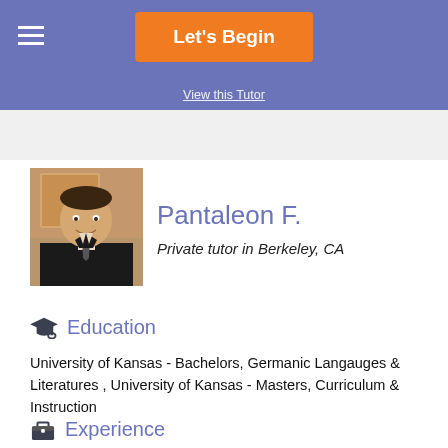Let's Begin
View this Tutor
[Figure (photo): Profile photo of Pantaleon F., a young man in a suit and tie, smiling, in front of a painting]
Pantaleon F.
Private tutor in Berkeley, CA
Education
University of Kansas - Bachelors, Germanic Langauges & Literatures , University of Kansas - Masters, Curriculum & Instruction
Experience